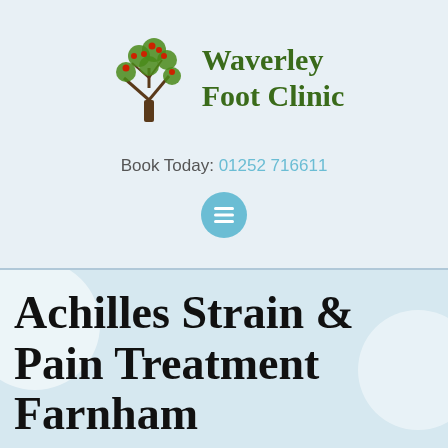[Figure (logo): Waverley Foot Clinic logo: a stylized tree with green leaves and red berries, with the clinic name in dark green serif font to the right]
Book Today: 01252 716611
[Figure (other): Blue circular hamburger/menu navigation button with three horizontal white lines]
Achilles Strain & Pain Treatment Farnham
Home / Sports Injuries / Achilles Strain & Pain